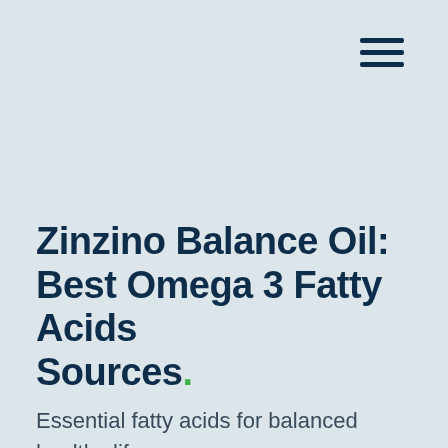[Figure (other): Hamburger menu icon — three horizontal dark navy bars stacked vertically, positioned in top-right corner]
Zinzino Balance Oil: Best Omega 3 Fatty Acids Sources.
Essential fatty acids for balanced healthy life.
High quality source of Omega 3 fatty acids to...